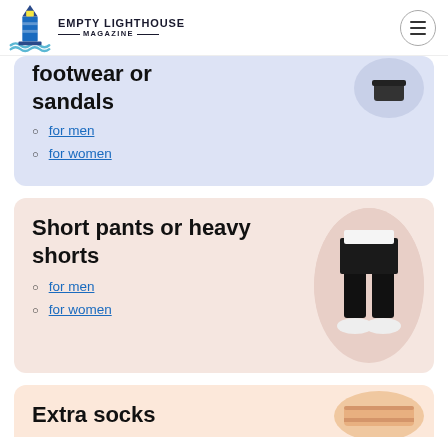Empty Lighthouse Magazine
footwear or sandals
for men
for women
Short pants or heavy shorts
for men
for women
Extra socks